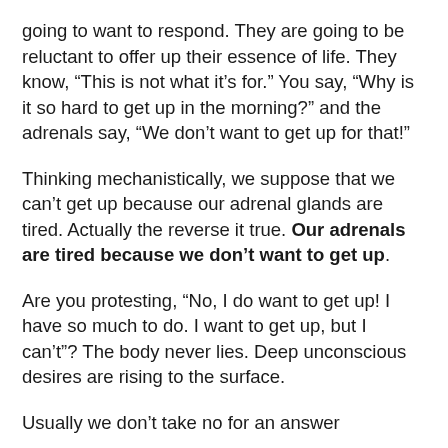going to want to respond. They are going to be reluctant to offer up their essence of life. They know, “This is not what it’s for.” You say, “Why is it so hard to get up in the morning?” and the adrenals say, “We don’t want to get up for that!”
Thinking mechanistically, we suppose that we can’t get up because our adrenal glands are tired. Actually the reverse it true. Our adrenals are tired because we don’t want to get up.
Are you protesting, “No, I do want to get up! I have so much to do. I want to get up, but I can’t”? The body never lies. Deep unconscious desires are rising to the surface.
Usually we don’t take no for an answer